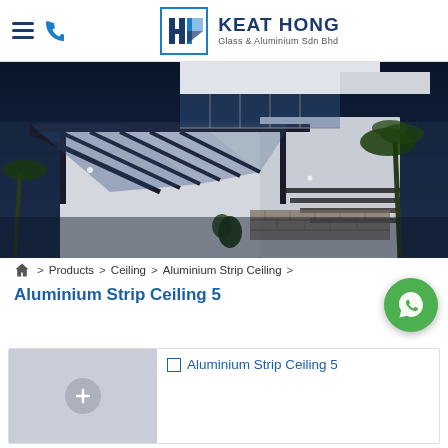KEAT HONG Glass & Aluminium Sdn Bhd
[Figure (photo): Exterior photo of a modern building with aluminium and glass canopy/pergola structures, dark steel framing, daytime, blue-tinted dark background]
⌂ > Products > Ceiling > Aluminium Strip Ceiling >
Aluminium Strip Ceiling 5
[Figure (photo): Product thumbnail placeholder for Aluminium Strip Ceiling 5 with a plus/expand icon]
Aluminium Strip Ceiling 5